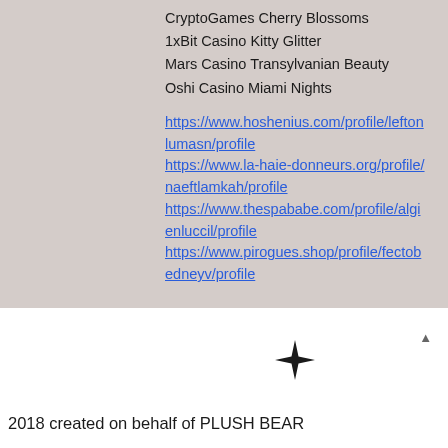CryptoGames Cherry Blossoms
1xBit Casino Kitty Glitter
Mars Casino Transylvanian Beauty
Oshi Casino Miami Nights
https://www.hoshenius.com/profile/leftonlumasn/profile
https://www.la-haie-donneurs.org/profile/naeftlamkah/profile
https://www.thespababe.com/profile/algienlu ccil/profile
https://www.pirogues.shop/profile/fectobedneyv/profile
[Figure (illustration): Black four-pointed star / diamond shape icon]
2018 created on behalf of PLUSH BEAR
[Figure (illustration): Pink/magenta envelope icon button]